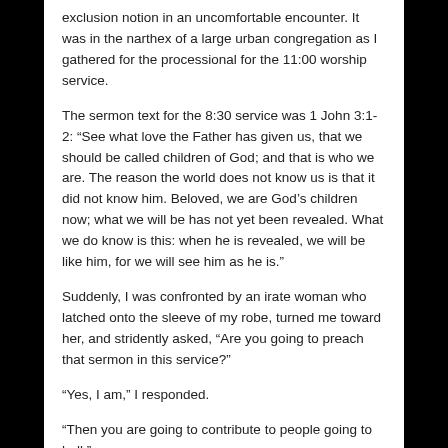exclusion notion in an uncomfortable encounter.  It was in the narthex of a large urban congregation as I gathered for the processional for the 11:00 worship service.
The sermon text for the 8:30 service was 1 John 3:1-2: “See what love the Father has given us, that we should be called children of God; and that is who we are. The reason the world does not know us is that it did not know him. Beloved, we are God’s children now; what we will be has not yet been revealed. What we do know is this: when he is revealed, we will be like him, for we will see him as he is.”
Suddenly, I was confronted by an irate woman who latched onto the sleeve of my robe, turned me toward her, and stridently asked, “Are you going to preach that sermon in this service?”
“Yes, I am,” I responded.
“Then you are going to contribute to people going to hell,”